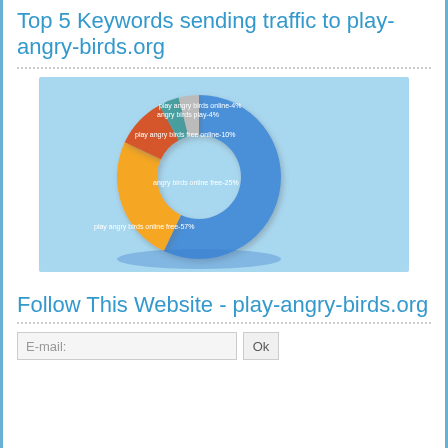Top 5 Keywords sending traffic to play-angry-birds.org
[Figure (donut-chart): Top 5 Keywords sending traffic to play-angry-birds.org]
Follow This Website - play-angry-birds.org
E-mail:
Ok